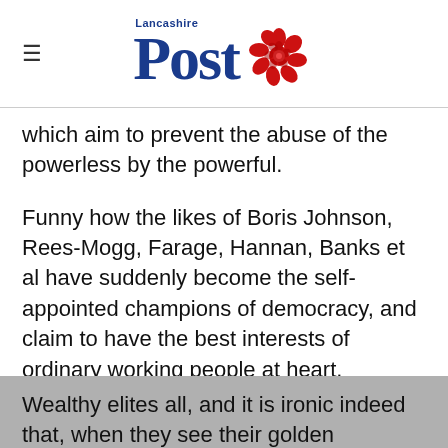Lancashire Post
which aim to prevent the abuse of the powerless by the powerful.
Funny how the likes of Boris Johnson, Rees-Mogg, Farage, Hannan, Banks et al have suddenly become the self-appointed champions of democracy, and claim to have the best interests of ordinary working people at heart.
Wealthy elites all, and it is ironic indeed that, when they see their golden opportunity to ride